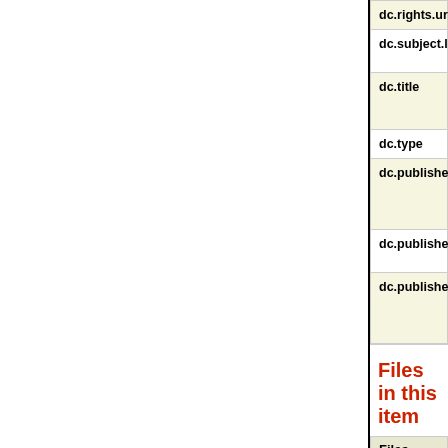| Field | Value |
| --- | --- |
| dc.rights.url | http://creativec... |
| dc.subject.lcsh | Information tec... |
| dc.title | Design for a Ho... |
| dc.type | thesis |
| dc.publisher.digital | University of C... Criminal Justic... |
| dc.publisher.OLinstitution | University of C... |
| dc.publisher.OLrepository | University of C... Criminal Justic... |
Files in this item
| Files |
| --- |
| Obrien.M_SeniorDesignProject_PDF2005.pdf... |
| Obrien.M_SeniorDesignProject_PPT2005.ppt... |
The following license files are associated with